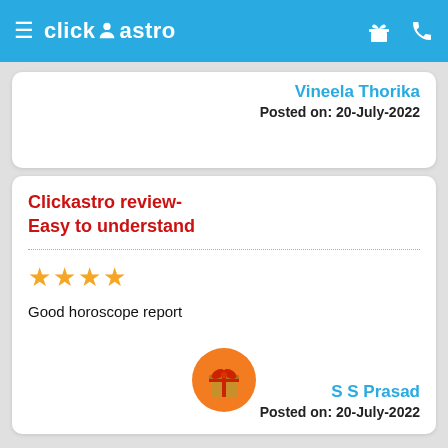click astro
Vineela Thorika
Posted on: 20-July-2022
Clickastro review- Easy to understand
★★★★
Good horoscope report
S S Prasad
Posted on: 20-July-2022